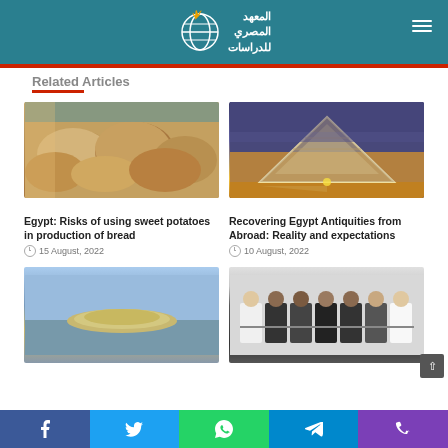المعهد المصري للدراسات
Related Articles
[Figure (photo): Close-up photo of Egyptian flatbread (baladi bread) loaves]
Egypt: Risks of using sweet potatoes in production of bread
15 August, 2022
[Figure (photo): Photo of the Louvre Museum pyramid illuminated at night]
Recovering Egypt Antiquities from Abroad: Reality and expectations
10 August, 2022
[Figure (photo): Aerial photo of a small sandy island surrounded by water]
[Figure (photo): Photo of several men in formal attire standing in a row holding hands]
f  t  WhatsApp  Telegram  Phone